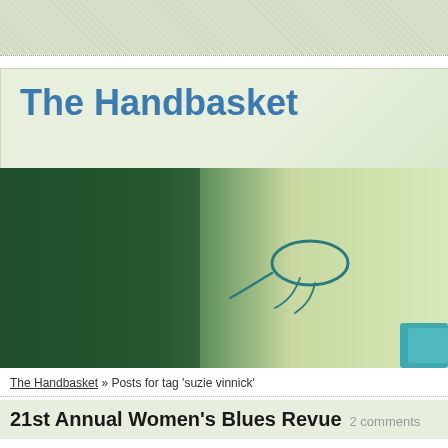The Handbasket
[Figure (photo): Blog header image showing a close-up macro photograph of what appears to be a small organism or insect, with a dark green to light gradient background. A teal/blue colored object is visible in the lower right corner.]
The Handbasket » Posts for tag 'suzie vinnick'
21st Annual Women's Blues Revue 2 comments
Posted on December 3, 2007 by Venus in Uncategorized
Amy came to visit this weekend – we both just need some time to hang out together. It was terrific. When we planned this weekend, I made two suggestions for Saturday